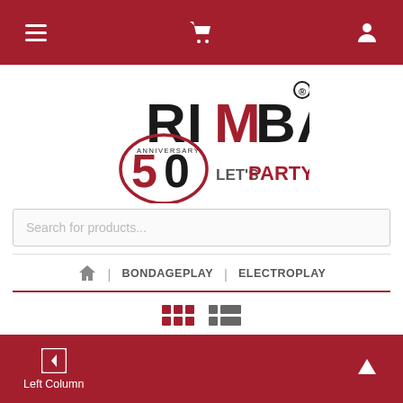Navigation bar with menu, cart, and user icons
[Figure (logo): RIMBA 50th Anniversary Let's Party logo — large black and red text with a stylized '50' circle and 'ANNIVERSARY' text arched around it, registered trademark symbol]
Search for products...
🏠 | BONDAGEPLAY | ELECTROPLAY
[Figure (other): Grid view and list view toggle icons in dark red/grey]
◄ Left Column  ▲